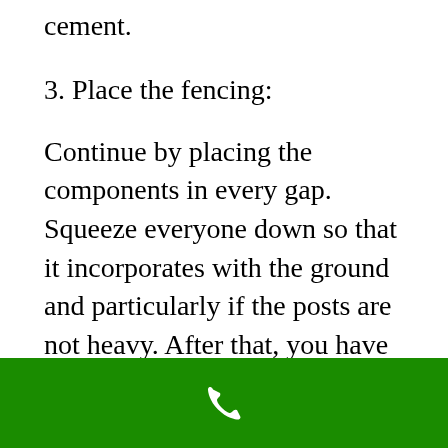cement.
3. Place the fencing:
Continue by placing the components in every gap. Squeeze everyone down so that it incorporates with the ground and particularly if the posts are not heavy. After that, you have to ensure that it gets balanced out so that it provides enough stability and security.
4. Bind everything together:
[Figure (other): Green bottom bar with white phone/call icon]